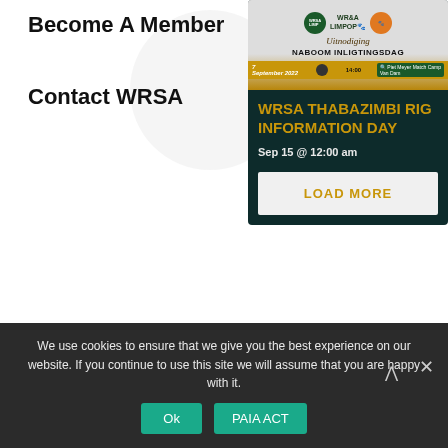Become A Member
Contact WRSA
[Figure (photo): Event card for WRSA Thabazimbi Rig Information Day. Shows a dark teal card with an image at top featuring WRSA Limpopo logo, 'Uitnodiging' text, 'NABOOM INLIGTINGSDAG', date bar showing 7 September 2022 and 14:00. Below the image the card shows title 'WRSA THABAZIMBI RIG INFORMATION DAY' in gold/orange text, event date 'Sep 15 @ 12:00 am', and a 'LOAD MORE' button.]
We use cookies to ensure that we give you the best experience on our website. If you continue to use this site we will assume that you are happy with it.
Ok
PAIA ACT